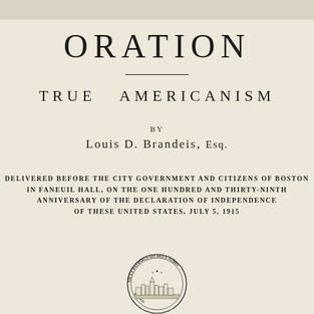ORATION
TRUE   AMERICANISM
BY
Louis D. Brandeis, Esq.
DELIVERED BEFORE THE CITY GOVERNMENT AND CITIZENS OF BOSTON IN FANEUIL HALL, ON THE ONE HUNDRED AND THIRTY-NINTH ANNIVERSARY OF THE DECLARATION OF INDEPENDENCE OF THESE UNITED STATES, JULY 5, 1915
[Figure (illustration): Circular seal of the City of Boston with skyline and Latin motto text around the border]